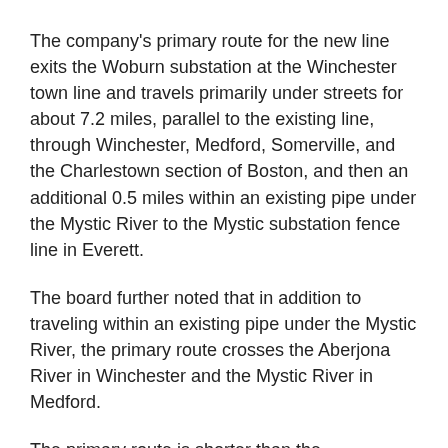The company's primary route for the new line exits the Woburn substation at the Winchester town line and travels primarily under streets for about 7.2 miles, parallel to the existing line, through Winchester, Medford, Somerville, and the Charlestown section of Boston, and then an additional 0.5 miles within an existing pipe under the Mystic River to the Mystic substation fence line in Everett.
The board further noted that in addition to traveling within an existing pipe under the Mystic River, the primary route crosses the Aberjona River in Winchester and the Mystic River in Medford.
The primary route is shorter than the approximately $101.9m “noticed alternative route” by nearly two miles, passes fewer residential and commercial/industrial land uses, and would result in lower impacts during construction activities, the board said, adding that the